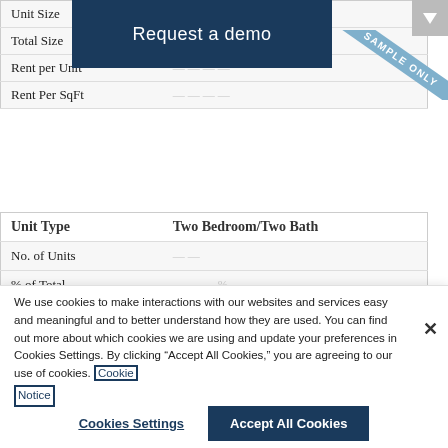|  |  |
| --- | --- |
| Unit Size |  |
| Total Size |  |
| Rent per Unit |  |
| Rent Per SqFt |  |
| Unit Type | Two Bedroom/Two Bath |
| --- | --- |
| No. of Units |  |
| % of Total |  |
| Unit Size |  |
| Total Size |  |
We use cookies to make interactions with our websites and services easy and meaningful and to better understand how they are used. You can find out more about which cookies we are using and update your preferences in Cookies Settings. By clicking “Accept All Cookies,” you are agreeing to our use of cookies. Cookie Notice
Cookies Settings
Accept All Cookies